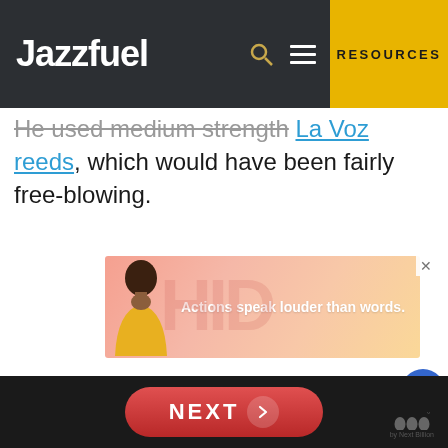Jazzfuel | RESOURCES
He used medium strength La Voz reeds, which would have been fairly free-blowing.
[Figure (infographic): Advertisement banner with pink/salmon gradient background, illustration of a person in yellow jacket, and text 'Actions speak louder than words.' with close (x) button.]
[Figure (infographic): Like button (heart icon, blue circle) with count 10, and share button below it on the right side.]
WHAT'S NEXT → Best Alto & Tenor...
NEXT →